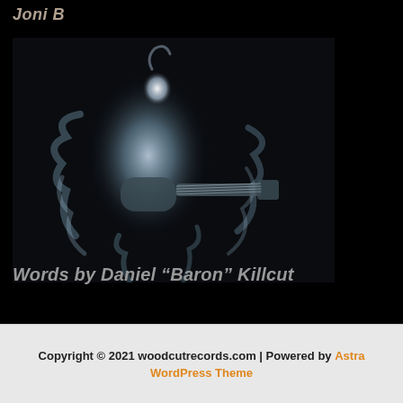Joni B
[Figure (photo): A moody black background photo showing a guitarist figure rendered in glowing blue-white smoke or light, playing an electric guitar. The ethereal smoke forms the shape of a person holding and playing a guitar, with swirling patterns suggesting motion and energy.]
Words by Daniel “Baron” Killcut
Copyright © 2021 woodcutrecords.com | Powered by Astra WordPress Theme